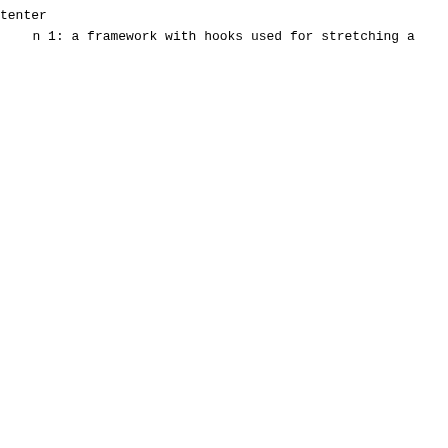tenter
n 1: a framework with hooks used for stretching a